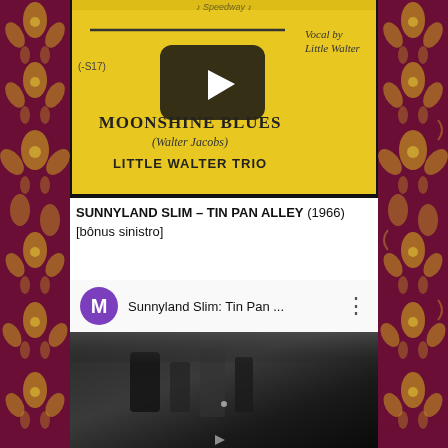[Figure (screenshot): YouTube-style video thumbnail showing a yellow vinyl record label for 'Moonshine Blues' by Little Walter Trio (Walter Jacobs). Text on label reads: 'Vocal by Little Walter', '(-S17)', 'MOONSHINE BLUES', '(Walter Jacobs)', 'LITTLE WALTER TRIO'. A dark play button overlay is centered on the image.]
SUNNYLAND SLIM – TIN PAN ALLEY (1966) [bônus sinistro]
[Figure (screenshot): Embedded YouTube video player showing Sunnyland Slim: Tin Pan ... with a purple avatar 'M' channel icon on the left, video title, and three-dot menu. Below is a dark video frame with a small play button, showing a black and white image.]